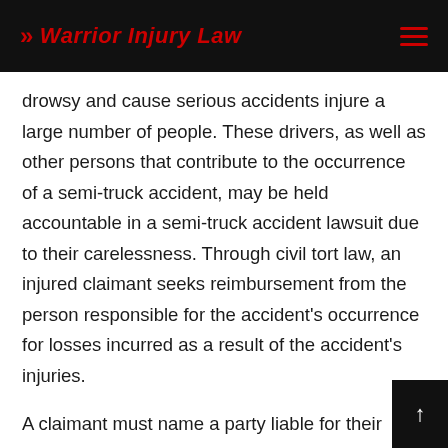>> Warrior Injury Law
drowsy and cause serious accidents injure a large number of people. These drivers, as well as other persons that contribute to the occurrence of a semi-truck accident, may be held accountable in a semi-truck accident lawsuit due to their carelessness. Through civil tort law, an injured claimant seeks reimbursement from the person responsible for the accident's occurrence for losses incurred as a result of the accident's injuries.
A claimant must name a party liable for their injuries and be able to prove that